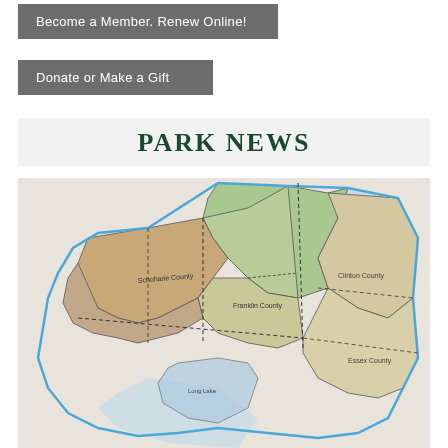Become a Member.  Renew Online!
Donate or Make a Gift
PARK NEWS
[Figure (map): County map showing park districts with color-coded regions including green (Franklin County area), tan/beige (Schoharie County area), light blue (southern region), and light yellow (Essex County area), outlined with blue boundary lines and dashed lines indicating township boundaries.]